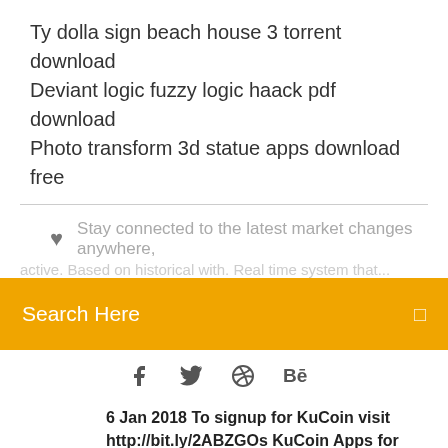Ty dolla sign beach house 3 torrent download
Deviant logic fuzzy logic haack pdf download
Photo transform 3d statue apps download free
Stay connected to the latest market changes anywhere,
...active. Based on historical with. Real time system that...
Search Here
[Figure (other): Social media icons: Facebook, Twitter, a circle/dribbble icon, and Behance]
6 Jan 2018 To signup for KuCoin visit http://bit.ly/2ABZGOs KuCoin Apps for IOS and I also go over how to download the IOS and Android App for Kucoin
Wondering how to buy Electroneum? Find out where to buy Electroneum the easiest way with clear and detailed instructions on how to buy Electroneum...